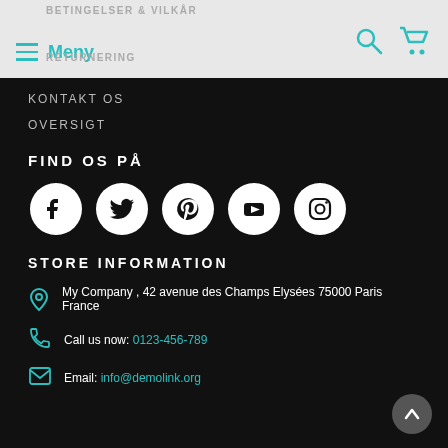BETINGELSER & VILKÅR / RETURNERING / Meny
KONTAKT OS
OVERSIGT
FIND OS PÅ
[Figure (illustration): Row of 5 social media icons: Facebook, Twitter, Pinterest, YouTube, Instagram]
STORE INFORMATION
My Company , 42 avenue des Champs Elysées 75000 Paris France
Call us now: 0123-456-789
Email: info@demolink.org